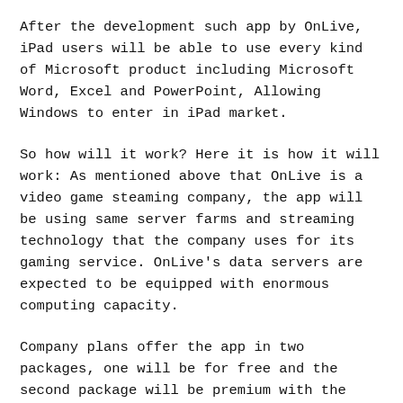After the development such app by OnLive, iPad users will be able to use every kind of Microsoft product including Microsoft Word, Excel and PowerPoint, Allowing Windows to enter in iPad market.
So how will it work? Here it is how it will work: As mentioned above that OnLive is a video game steaming company, the app will be using same server farms and streaming technology that the company uses for its gaming service. OnLive's data servers are expected to be equipped with enormous computing capacity.
Company plans offer the app in two packages, one will be for free and the second package will be premium with the starting offer of 2 GB limited office applications and cloud storage. While the premium